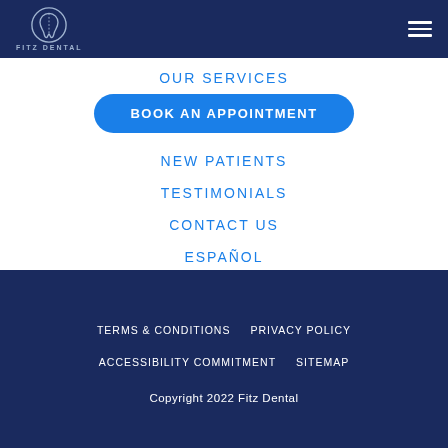FITZ DENTAL
BOOK AN APPOINTMENT
OUR SERVICES
NEW PATIENTS
TESTIMONIALS
CONTACT US
ESPAÑOL
TERMS & CONDITIONS   PRIVACY POLICY   ACCESSIBILITY COMMITMENT   SITEMAP   Copyright 2022 Fitz Dental